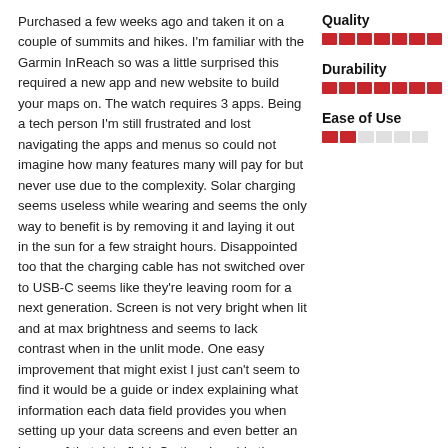Purchased a few weeks ago and taken it on a couple of summits and hikes. I'm familiar with the Garmin InReach so was a little surprised this required a new app and new website to build your maps on. The watch requires 3 apps. Being a tech person I'm still frustrated and lost navigating the apps and menus so could not imagine how many features many will pay for but never use due to the complexity. Solar charging seems useless while wearing and seems the only way to benefit is by removing it and laying it out in the sun for a few straight hours. Disappointed too that the charging cable has not switched over to USB-C seems like they're leaving room for a next generation. Screen is not very bright when lit and at max brightness and seems to lack contrast when in the unlit mode. One easy improvement that might exist I just can't seem to find it would be a guide or index explaining what information each data field provides you when setting up your data screens and even better an image of that data field. On the plus side the strap seems high quality and the DLC finished Bezel has withstood
[Figure (other): Rating bars for Quality (full, 7 segments filled), Durability (full, 7 segments filled), Ease of Use (partial, 2 of 6 segments filled)]